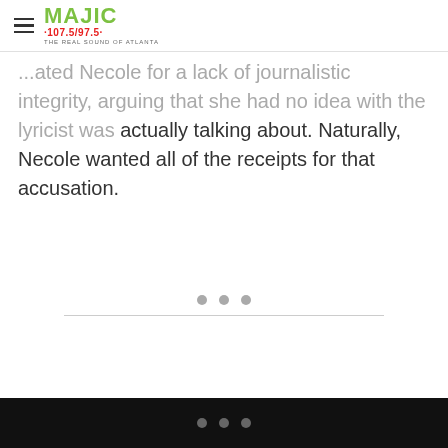MAJIC 107.5/97.5 THE REAL SOUND OF ATLANTA
...ated Necole for a lack of journalistic integrity, arguing that she had no idea with the lyricist was actually talking about. Naturally, Necole wanted all of the receipts for that accusation.